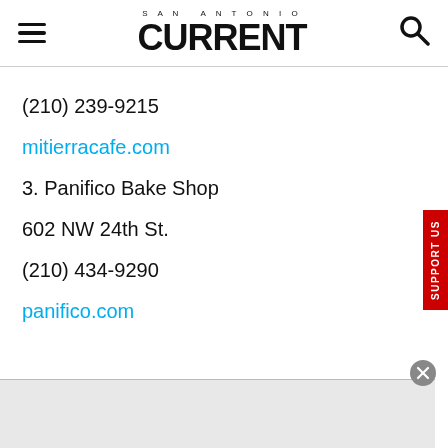SAN ANTONIO CURRENT
(210) 239-9215
mitierracafe.com
3. Panifico Bake Shop
602 NW 24th St.
(210) 434-9290
panifico.com